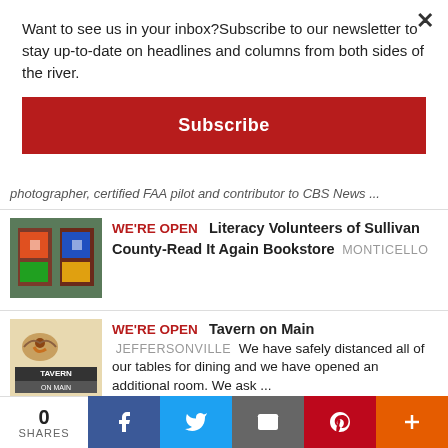Want to see us in your inbox?Subscribe to our newsletter to stay up-to-date on headlines and columns from both sides of the river.
Subscribe
photographer, certified FAA pilot and contributor to CBS News ...
WE'RE OPEN   Literacy Volunteers of Sullivan County-Read It Again Bookstore   MONTICELLO
[Figure (photo): Bookstore storefront with colorful signs]
WE'RE OPEN   Tavern on Main   JEFFERSONVILLE   We have safely distanced all of our tables for dining and we have opened an additional room. We ask ...
[Figure (photo): Tavern on Main logo with bird illustration]
WE'RE OPEN   Stan's Cafe   HONESDALE   We are open for dine in & takeout. Waitresses wear masks and clean the
[Figure (photo): Stan's Cafe yellow logo sign]
0 SHARES